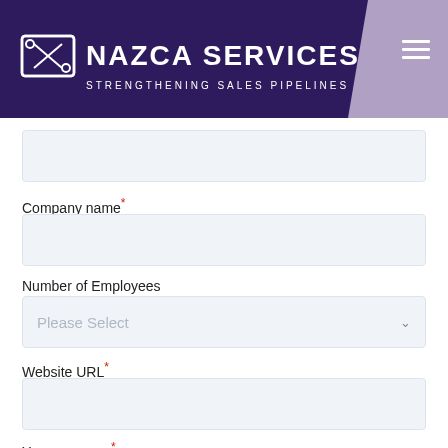[Figure (logo): Nazca Services logo with envelope icon, text 'NAZCA SERVICES' and tagline 'STRENGTHENING SALES PIPELINES' on dark purple background with lavender accent and hamburger menu icon]
(unlabeled text input field)
Company name*
(company name text input field)
Number of Employees
Please Select
Website URL*
(website URL text input field)
Your message*
(message textarea)